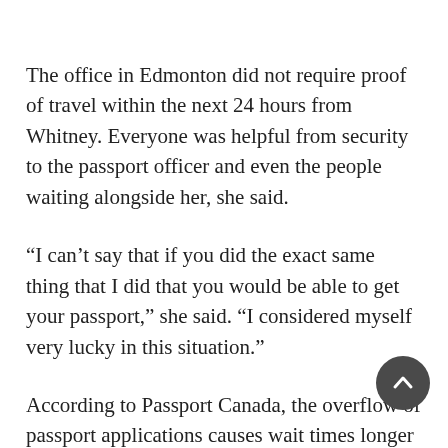The office in Edmonton did not require proof of travel within the next 24 hours from Whitney. Everyone was helpful from security to the passport officer and even the people waiting alongside her, she said.
“I can’t say that if you did the exact same thing that I did that you would be able to get your passport,” she said. “I considered myself very lucky in this situation.”
According to Passport Canada, the overflow of passport applications causes wait times longer than the service standards listed on its website. It instructs to not finalize travel plans before getting your passport. It also notes that any fee refunds for service delays are suspended for